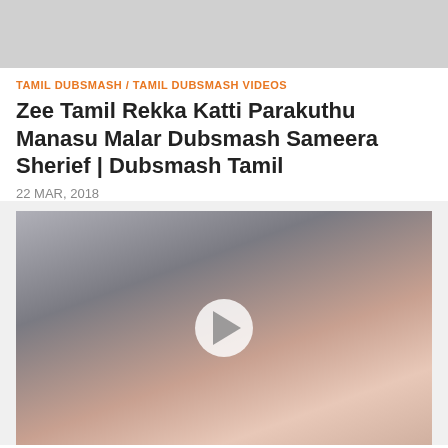[Figure (photo): Gray placeholder image at the top of the page]
TAMIL DUBSMASH / TAMIL DUBSMASH VIDEOS
Zee Tamil Rekka Katti Parakuthu Manasu Malar Dubsmash Sameera Sherief | Dubsmash Tamil
22 MAR, 2018
[Figure (screenshot): Video thumbnail showing a close-up of a woman's face with dramatic eye makeup and dangling earrings, with a play button overlay in the center]
DUBSMASH TAMIL VIDEOS / TAMIL DUBSMASH / TAMIL DUBSMASH VIDEOS
vijay tv raja rani semba dubsmash tamil download videoldubsmash tamil